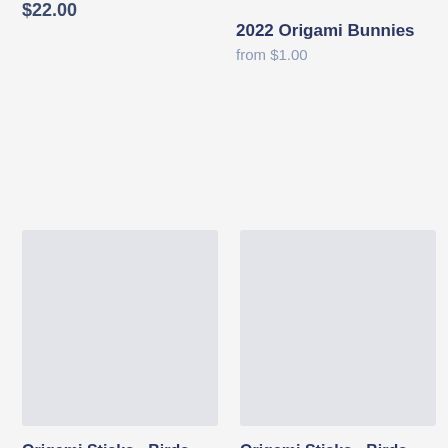$22.00
2022 Origami Bunnies
from $1.00
[Figure (other): Placeholder product image for Origami Sticks - Birds (pink), light grey/lavender square]
Origami Sticks - Birds (pink)
from $8.00
[Figure (other): Placeholder product image for Origami Sticks - Birds (blue), light grey/lavender square]
Origami Sticks - Birds (blue)
from $8.00